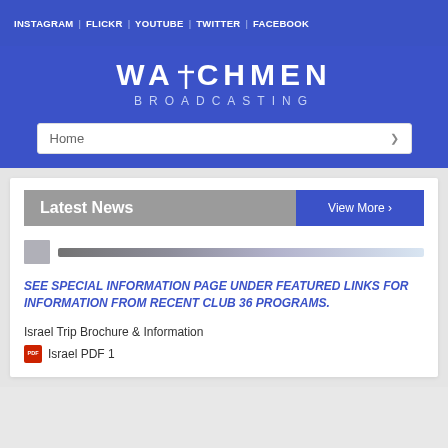INSTAGRAM | FLICKR | YOUTUBE | TWITTER | FACEBOOK
[Figure (logo): Watchmen Broadcasting logo with cross icon, white text on blue background]
Home
Latest News
View More ›
[Figure (photo): Partial thumbnail image - blurred/dark horizontal bar]
SEE SPECIAL INFORMATION PAGE UNDER FEATURED LINKS FOR INFORMATION FROM RECENT CLUB 36 PROGRAMS.
Israel Trip Brochure & Information
Israel PDF 1